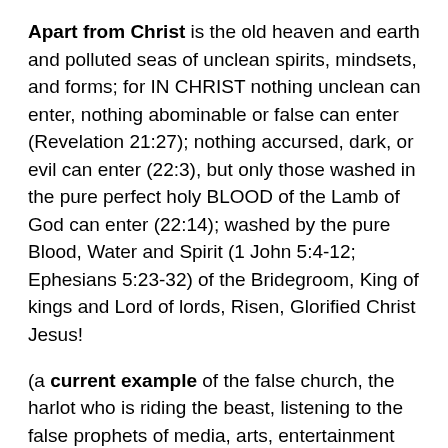Apart from Christ is the old heaven and earth and polluted seas of unclean spirits, mindsets, and forms; for IN CHRIST nothing unclean can enter, nothing abominable or false can enter (Revelation 21:27); nothing accursed, dark, or evil can enter (22:3), but only those washed in the pure perfect holy BLOOD of the Lamb of God can enter (22:14); washed by the pure Blood, Water and Spirit (1 John 5:4-12; Ephesians 5:23-32) of the Bridegroom, King of kings and Lord of lords, Risen, Glorified Christ Jesus!
(a current example of the false church, the harlot who is riding the beast, listening to the false prophets of media, arts, entertainment industry, false governments, false religions, false education, fallen families, fallen corporations of dark, fallen, current mystery babylon: is described on this video about a fallen "star" who calls